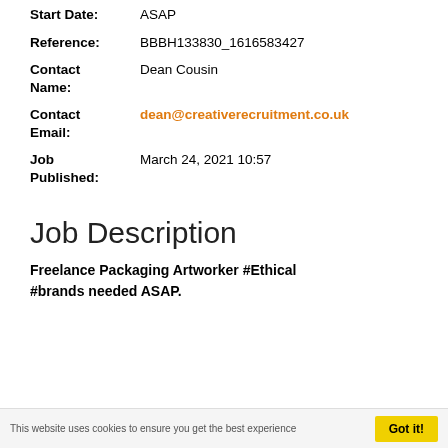Start Date: ASAP
Reference: BBBH133830_1616583427
Contact Name: Dean Cousin
Contact Email: dean@creativerecruitment.co.uk
Job Published: March 24, 2021 10:57
Job Description
Freelance Packaging Artworker #Ethical #brands needed ASAP.
This website uses cookies to ensure you get the best experience   Got it!